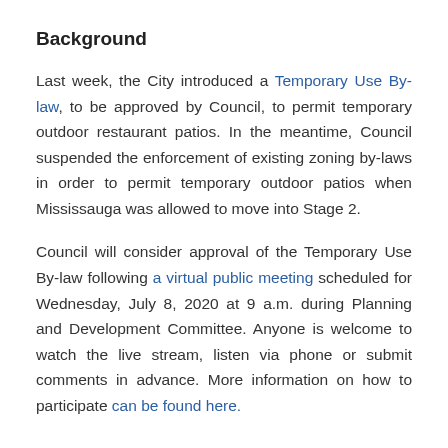Background
Last week, the City introduced a Temporary Use By-law, to be approved by Council, to permit temporary outdoor restaurant patios. In the meantime, Council suspended the enforcement of existing zoning by-laws in order to permit temporary outdoor patios when Mississauga was allowed to move into Stage 2.
Council will consider approval of the Temporary Use By-law following a virtual public meeting scheduled for Wednesday, July 8, 2020 at 9 a.m. during Planning and Development Committee. Anyone is welcome to watch the live stream, listen via phone or submit comments in advance. More information on how to participate can be found here.